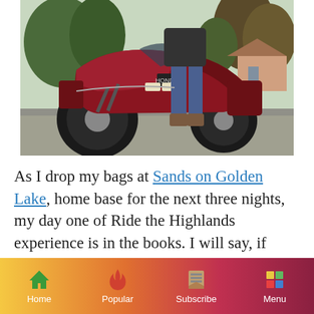[Figure (photo): A person standing beside a large red Honda Gold Wing touring motorcycle on a residential street, with trees and a house visible in the background.]
As I drop my bags at Sands on Golden Lake, home base for the next three nights, my day one of Ride the Highlands experience is in the books. I will say, if there is a more deserving place in Ontario of the saying, “Getting there is half the fun,” I don’t know
Home | Popular | Subscribe | Menu